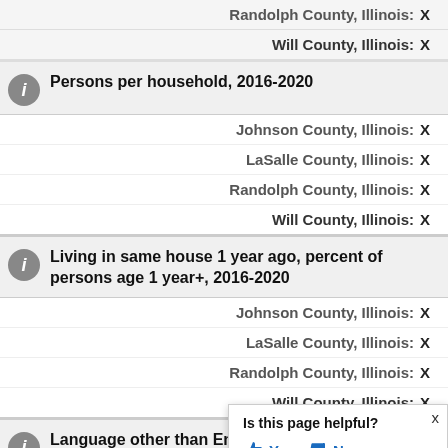Randolph County, Illinois: X
Will County, Illinois: X
Persons per household, 2016-2020
Johnson County, Illinois: X
LaSalle County, Illinois: X
Randolph County, Illinois: X
Will County, Illinois: X
Living in same house 1 year ago, percent of persons age 1 year+, 2016-2020
Johnson County, Illinois: X
LaSalle County, Illinois: X
Randolph County, Illinois: X
Will County, Illinois: X
Language other than English percent of persons age 5 year
Is this page helpful? Yes No